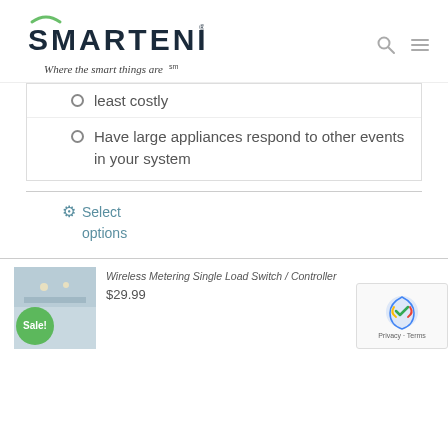[Figure (logo): SMARTENIT logo with tagline 'Where the smart things are' and navigation icons (search, hamburger menu)]
least costly
Have large appliances respond to other events in your system
Select options
Wireless Metering Single Load Switch / Controller
$29.99
[Figure (screenshot): reCAPTCHA badge with Privacy and Terms links]